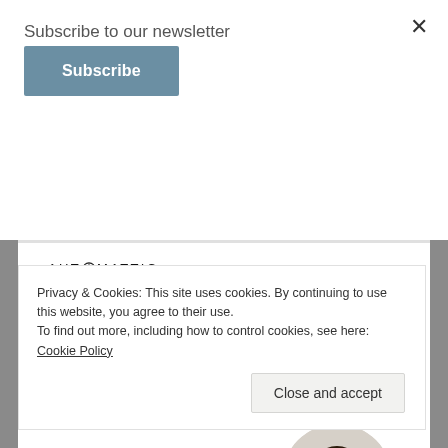Subscribe to our newsletter
Subscribe
[Figure (infographic): Automattic logo with compass icon, tagline 'Build a better web and a better world.', Apply button, and circular photo of a man thinking]
Privacy & Cookies: This site uses cookies. By continuing to use this website, you agree to their use.
To find out more, including how to control cookies, see here: Cookie Policy
Close and accept